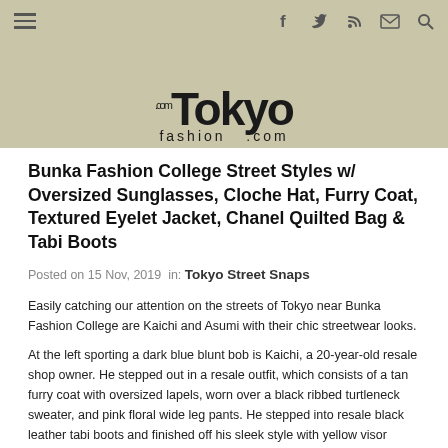Tokyo Fashion .com - navigation header
Bunka Fashion College Street Styles w/ Oversized Sunglasses, Cloche Hat, Furry Coat, Textured Eyelet Jacket, Chanel Quilted Bag & Tabi Boots
Posted on 15 Nov, 2019  in:  Tokyo Street Snaps
Easily catching our attention on the streets of Tokyo near Bunka Fashion College are Kaichi and Asumi with their chic streetwear looks.
At the left sporting a dark blue blunt bob is Kaichi, a 20-year-old resale shop owner. He stepped out in a resale outfit, which consists of a tan furry coat with oversized lapels, worn over a black ribbed turtleneck sweater, and pink floral wide leg pants. He stepped into resale black leather tabi boots and finished off his sleek style with yellow visor sunglasses, cocktail rings and a black suede bucket bag. Kaichi's favorite fashion brand is Urbanian, and he enjoys going to music clubs. He is active on Instagram.
Meanwhile, Asumi stepped out in an all black resale ensemble, which